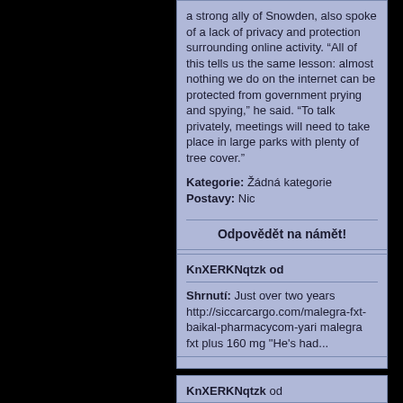a strong ally of Snowden, also spoke of a lack of privacy and protection surrounding online activity. “All of this tells us the same lesson: almost nothing we do on the internet can be protected from government prying and spying,” he said. “To talk privately, meetings will need to take place in large parks with plenty of tree cover.”
Kategorie: Žádná kategorie
Postavy: Nic
Odpovědět na námět!
KnXERKNqtzk od
Shrnutí: Just over two years http://siccarcargo.com/malegra-fxt-baikal-pharmacycom-yari malegra fxt plus 160 mg "He's had...